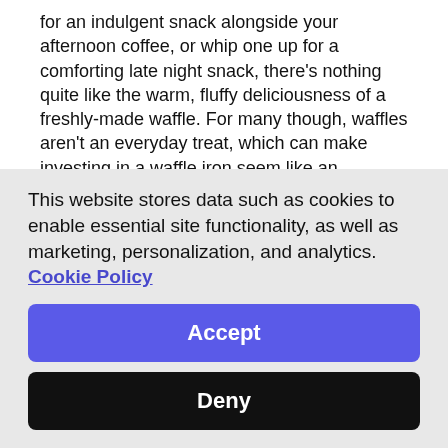for an indulgent snack alongside your afternoon coffee, or whip one up for a comforting late night snack, there's nothing quite like the warm, fluffy deliciousness of a freshly-made waffle. For many though, waffles aren't an everyday treat, which can make investing in a waffle iron seem like an unnecessary extravagance. That's why Breville have made these fantastic waffle plates, designed to fit into our Deep Fill Sandwich Toaster Range, and create a versatile product that helps you whip up even more delicious meals and snacks for the whole family to enjoy.
Breville has 40 years' experience creating sandwich toasters that suit the daily life of you and your family, and our Deep Fill Range is no exception. With a stylish retro design and a whole range of features designed to let you get the perfect toasted snack every time, our
This website stores data such as cookies to enable essential site functionality, as well as marketing, personalization, and analytics. Cookie Policy
Accept
Deny